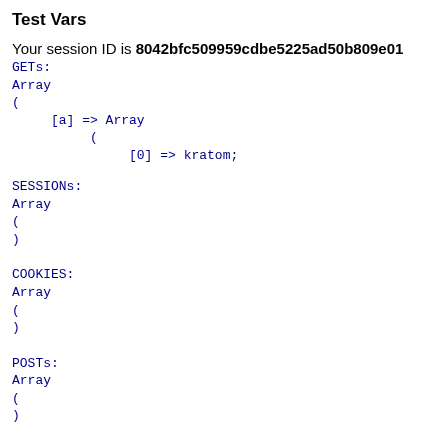Test Vars
Your session ID is 8042bfc509959cdbe5225ad50b809e01
GETs:
Array
(
    [a] => Array
        (
            [0] => kratom;
SESSIONs:
Array
(
)
COOKIES:
Array
(
)
POSTs:
Array
(
)